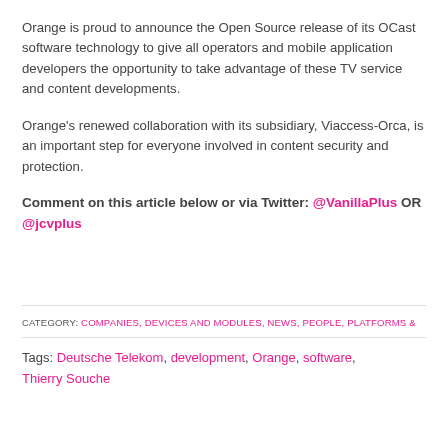Orange is proud to announce the Open Source release of its OCast software technology to give all operators and mobile application developers the opportunity to take advantage of these TV service and content developments.
Orange's renewed collaboration with its subsidiary, Viaccess-Orca, is an important step for everyone involved in content security and protection.
Comment on this article below or via Twitter: @VanillaPlus OR @jcvplus
CATEGORY: COMPANIES, DEVICES AND MODULES, NEWS, PEOPLE, PLATFORMS &
Tags: Deutsche Telekom, development, Orange, software, Thierry Souche